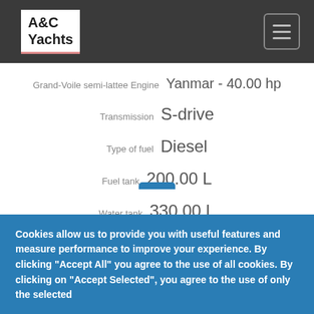A&C Yachts
Grand-Voile semi-lattee Engine  Yanmar - 40.00 hp
Transmission  S-drive
Type of fuel  Diesel
Fuel tank  200.00 L
Water tank  330.00 L
Cookies allow us to provide you with useful features and measure performance to improve your experience. By clicking "Accept All" you agree to the use of all cookies. By clicking on "Accept Selected", you agree to the use of only the selected